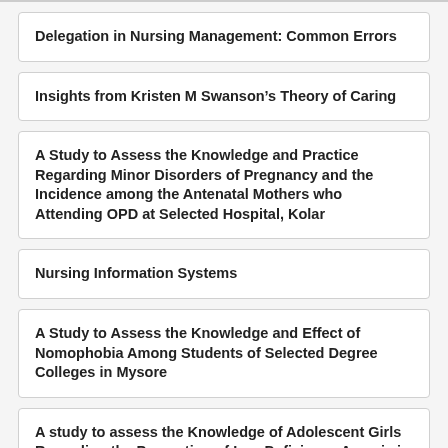Delegation in Nursing Management: Common Errors
Insights from Kristen M Swanson’s Theory of Caring
A Study to Assess the Knowledge and Practice Regarding Minor Disorders of Pregnancy and the Incidence among the Antenatal Mothers who Attending OPD at Selected Hospital, Kolar
Nursing Information Systems
A Study to Assess the Knowledge and Effect of Nomophobia Among Students of Selected Degree Colleges in Mysore
A study to assess the Knowledge of Adolescent Girls Regarding the Prevention of Iron Deficiency Anemia in Selected Rural Areas of Mysore with a View to